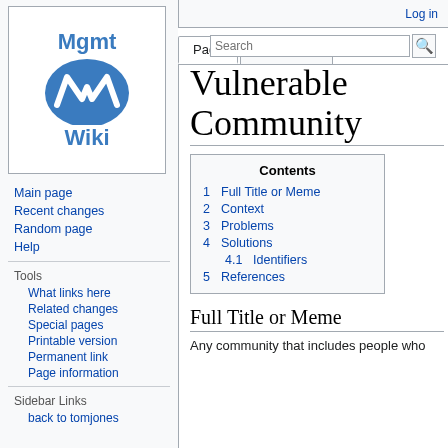Log in
[Figure (logo): Mgmt Wiki logo: blue oval with white W shape and text 'Mgmt' above 'Wiki']
Main page
Recent changes
Random page
Help
Tools
What links here
Related changes
Special pages
Printable version
Permanent link
Page information
Sidebar Links
back to tomjones
Vulnerable Community
| Contents |
| --- |
| 1 Full Title or Meme |
| 2 Context |
| 3 Problems |
| 4 Solutions |
| 4.1 Identifiers |
| 5 References |
Full Title or Meme
Any community that includes people who